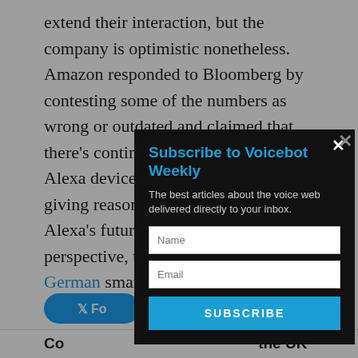extend their interaction, but the company is optimistic nonetheless. Amazon responded to Bloomberg by contesting some of the numbers as wrong or outdated and claimed that there’s continued growth in sales of Alexa devices a rise in usage as well, giving reason to be bullish about Alexa’s future. That may be a global perspective, though, as British and German smart speaker owners use them far more than those in the U.S. and Amazon had the global lead in smart speaker sales as of last year, according to Voic…
[Figure (screenshot): Subscribe to Voicebot Weekly modal popup with name, email fields and subscribe button on dark background]
Co… the UK us… Sp… e U.S.